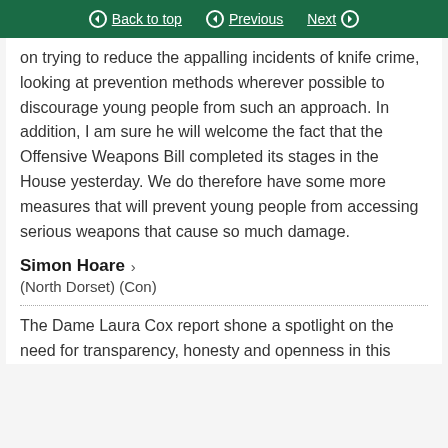Back to top | Previous | Next
on trying to reduce the appalling incidents of knife crime, looking at prevention methods wherever possible to discourage young people from such an approach. In addition, I am sure he will welcome the fact that the Offensive Weapons Bill completed its stages in the House yesterday. We do therefore have some more measures that will prevent young people from accessing serious weapons that cause so much damage.
Simon Hoare ›
(North Dorset) (Con)
The Dame Laura Cox report shone a spotlight on the need for transparency, honesty and openness in this